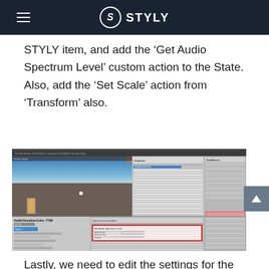STYLY
STYLY item, and add the ‘Get Audio Spectrum Level’ custom action to the State. Also, add the ‘Set Scale’ action from ‘Transform’ also.
[Figure (screenshot): Unity editor screenshot showing a 3D scene with AudioVisualizerCube FSM and a state machine panel with a red-highlighted custom action configuration box.]
Lastly, we need to edit the settings for the